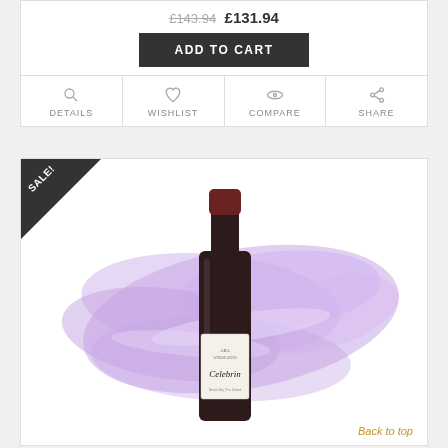£143.94 £131.94
ADD TO CART
DETAILS
WISHLIST
COMPARE
SHARE
[Figure (photo): Wine bottle with label 'Celebrin' against a purple brushstroke background, with a SALE! corner badge.]
Back to top